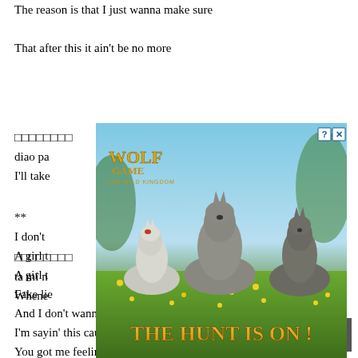The reason is that I just wanna make sure
That after this it ain't be no more
□□□□□□□□ diao pa I'll take
□□□□□□□□ ta mi n Whene
**
I don't
A girl t
A girl t
Fake lie
And I don't wanna hurt no more
I'm sayin' this cause I just wanna make sure
You got me feelin' down but there'll be no more
Fake lies
[Figure (screenshot): Wolf Game: The Wild Kingdom advertisement overlay showing three wolves in a field of yellow flowers with text 'The Hunt Is On!' and a red close button.]